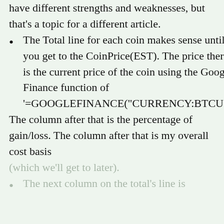have different strengths and weaknesses, but that's a topic for a different article.
The Total line for each coin makes sense until you get to the CoinPrice(EST). The price there is the current price of the coin using the Google Finance function of '=GOOGLEFINANCE("CURRENCY:BTCUSD The column after that is the percentage of gain/loss. The column after that is my overall cost basis (which we'll get to later).
The next column on the total's line is